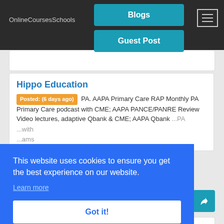OnlineCoursesSchools
Blogs
Guest Post
Hippo Education
Posted: (6 days ago) PA. AAPA Primary Care RAP Monthly PA Primary Care podcast with CME; AAPA PANCE/PANRE Review Video lectures, adaptive Qbank & CME; AAPA Qbank
This website uses cookies to ensure you get the best experience on our website.
Learn more
Got it!